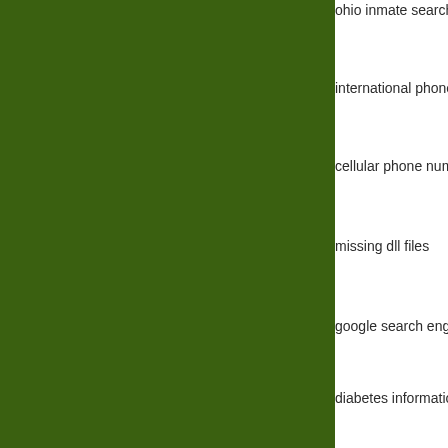[Figure (illustration): Large dark olive/green rectangular panel on the left side of the page]
ohio inmate search
international phone
cellular phone num
missing dll files
google search eng
diabetes informatio
download missing
free word searche
aol phone numbers
diabetes informatio
the missing piece m
missing dlls